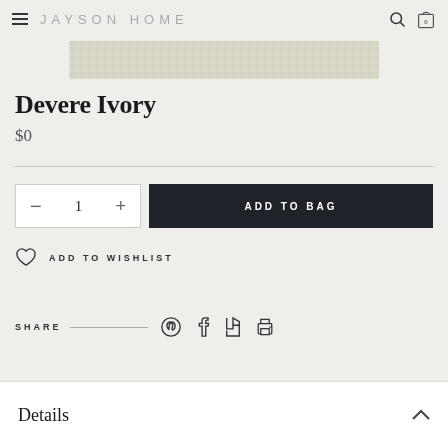JAYSON HOME
[Figure (photo): Partial product image strip showing a textured ivory/beige fabric or rug]
Devere Ivory
$0
1  ADD TO BAG
ADD TO WISHLIST
SHARE
Details